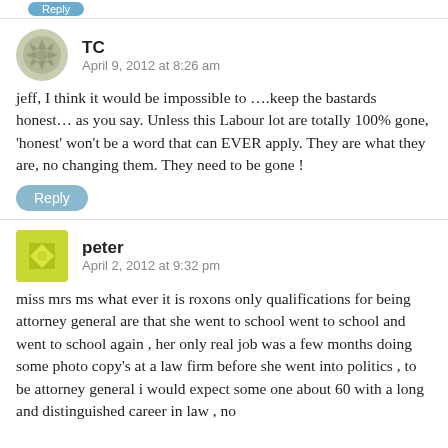TC
April 9, 2012 at 8:26 am
jeff, I think it would be impossible to ….keep the bastards honest… as you say. Unless this Labour lot are totally 100% gone, 'honest' won't be a word that can EVER apply. They are what they are, no changing them. They need to be gone !
peter
April 2, 2012 at 9:32 pm
miss mrs ms what ever it is roxons only qualifications for being attorney general are that she went to school went to school and went to school again , her only real job was a few months doing some photo copy's at a law firm before she went into politics , to be attorney general i would expect some one about 60 with a long and distinguished career in law , no